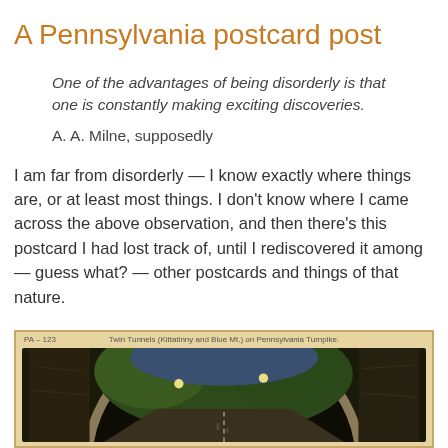A Pennsylvania postcard post
One of the advantages of being disorderly is that one is constantly making exciting discoveries.
A. A. Milne, supposedly
I am far from disorderly — I know exactly where things are, or at least most things. I don't know where I came across the above observation, and then there's this postcard I had lost track of, until I rediscovered it among — guess what? — other postcards and things of that nature.
[Figure (photo): Vintage postcard labeled 'PA-123' showing Twin Tunnels (Kittatinny and Blue Mt.) on Pennsylvania Turnpike, featuring a dark tunnel arch with lights visible inside and trees in background]